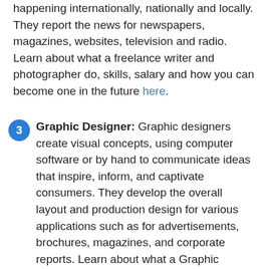happening internationally, nationally and locally. They report the news for newspapers, magazines, websites, television and radio. Learn about what a freelance writer and photographer do, skills, salary and how you can become one in the future here.
Graphic Designer: Graphic designers create visual concepts, using computer software or by hand to communicate ideas that inspire, inform, and captivate consumers. They develop the overall layout and production design for various applications such as for advertisements, brochures, magazines, and corporate reports. Learn about what a Graphic Designer does, skills, salary, and how you can become one in the future here.